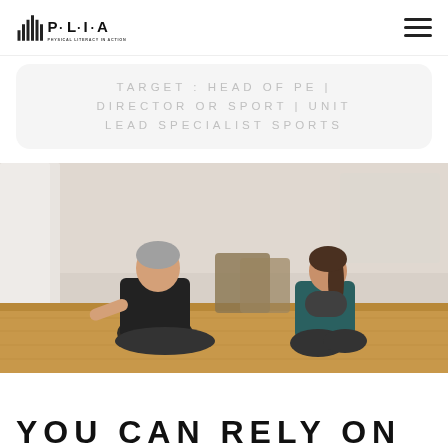PLIA – Physical Literacy in Action logo and navigation
TARGET: HEAD OF PE | DIRECTOR OR SPORT | UNIT LEAD SPECIALIST SPORTS
[Figure (photo): Two people sitting on a wooden gym floor facing each other. A man in a black sleeveless shirt and shorts on the left, and a woman in a teal top holding a foam roller on the right. Background shows gym equipment and white walls.]
YOU CAN RELY ON